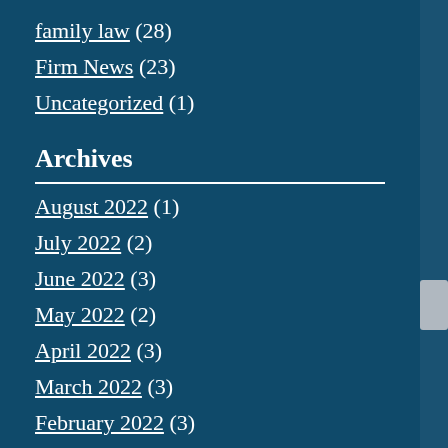family law (28)
Firm News (23)
Uncategorized (1)
Archives
August 2022 (1)
July 2022 (2)
June 2022 (3)
May 2022 (2)
April 2022 (3)
March 2022 (3)
February 2022 (3)